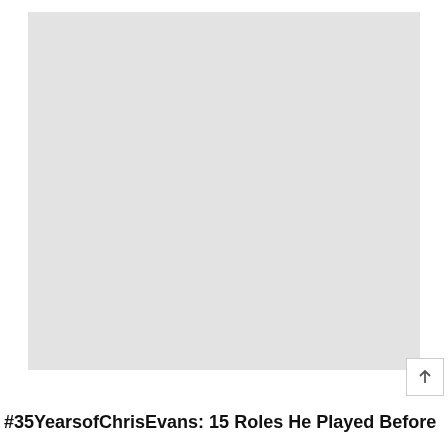[Figure (photo): Large light gray placeholder image area]
#35YearsofChrisEvans: 15 Roles He Played Before